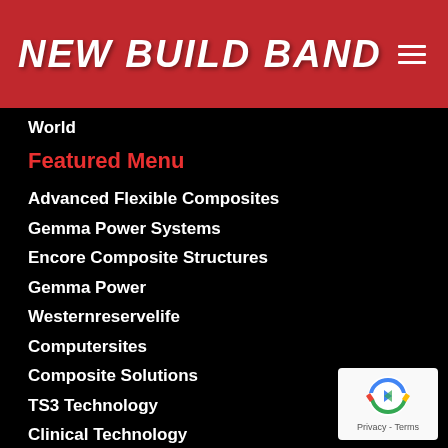NEW BUILD BAND
World
Featured Menu
Advanced Flexible Composites
Gemma Power Systems
Encore Composite Structures
Gemma Power
Westernreservelife
Computersites
Composite Solutions
TS3 Technology
Clinical Technology
American Technology Corporation
Adp Tax Services Inc
[Figure (logo): reCAPTCHA badge with circular arrow logo and Privacy - Terms text]